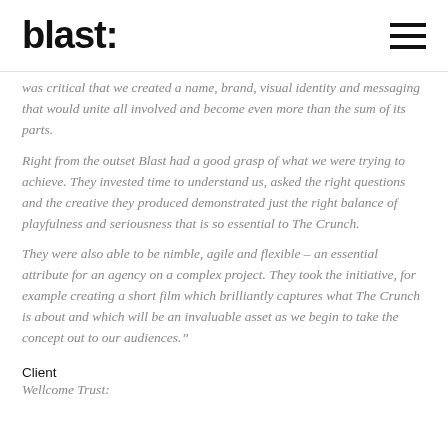blast:
was critical that we created a name, brand, visual identity and messaging that would unite all involved and become even more than the sum of its parts.
Right from the outset Blast had a good grasp of what we were trying to achieve. They invested time to understand us, asked the right questions and the creative they produced demonstrated just the right balance of playfulness and seriousness that is so essential to The Crunch.
They were also able to be nimble, agile and flexible – an essential attribute for an agency on a complex project. They took the initiative, for example creating a short film which brilliantly captures what The Crunch is about and which will be an invaluable asset as we begin to take the concept out to our audiences."
Client
Wellcome Trust: